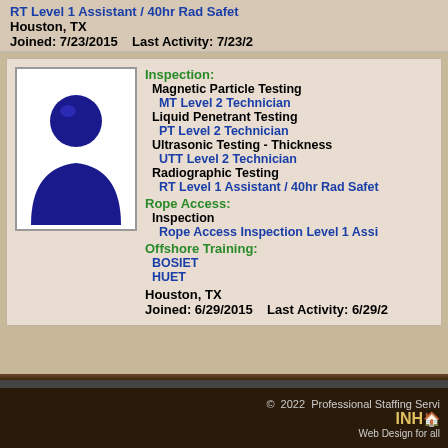RT Level 1 Assistant / 40hr Rad Safe…
Houston, TX
Joined: 7/23/2015    Last Activity: 7/23/2…
[Figure (illustration): Generic blue person silhouette avatar on white background with grey border]
Inspection: Magnetic Particle Testing / MT Level 2 Technician / Liquid Penetrant Testing / PT Level 2 Technician / Ultrasonic Testing - Thickness / UTT Level 2 Technician / Radiographic Testing / RT Level 1 Assistant / 40hr Rad Safe…
Rope Access: Inspection / Rope Access Inspection Level 1 Assi…
Offshore Training: BOSIET / HUET
Houston, TX
Joined: 6/29/2015    Last Activity: 6/29/2…
© 2022 Professional Staffing Servi… INH🏠 Web Design for all